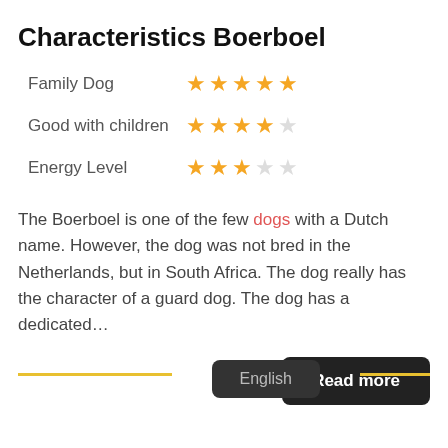Characteristics Boerboel
Family Dog ★★★★★ (5 stars)
Good with children ★★★★☆ (4 stars)
Energy Level ★★★☆☆ (3 stars)
The Boerboel is one of the few dogs with a Dutch name. However, the dog was not bred in the Netherlands, but in South Africa. The dog really has the character of a guard dog. The dog has a dedicated…
Read more
English